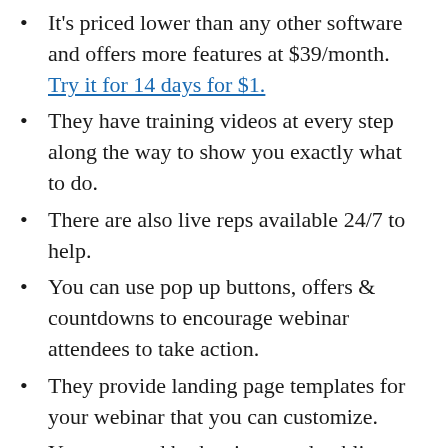It's priced lower than any other software and offers more features at $39/month. Try it for 14 days for $1.
They have training videos at every step along the way to show you exactly what to do.
There are also live reps available 24/7 to help.
You can use pop up buttons, offers & countdowns to encourage webinar attendees to take action.
They provide landing page templates for your webinar that you can customize.
You can send both private and public messages to attendees during the webinar.
If an attendee has a question in the live chat,